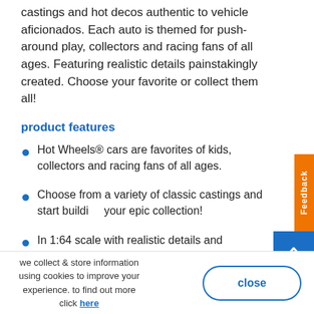castings and hot decos authentic to vehicle aficionados. Each auto is themed for push-around play, collectors and racing fans of all ages. Featuring realistic details painstakingly created. Choose your favorite or collect them all!
product features
Hot Wheels® cars are favorites of kids, collectors and racing fans of all ages.
Choose from a variety of classic castings and start building your epic collection!
In 1:64 scale with realistic details and authentic decos just like always.
(partially visible)
we collect & store information using cookies to improve your experience. to find out more click here